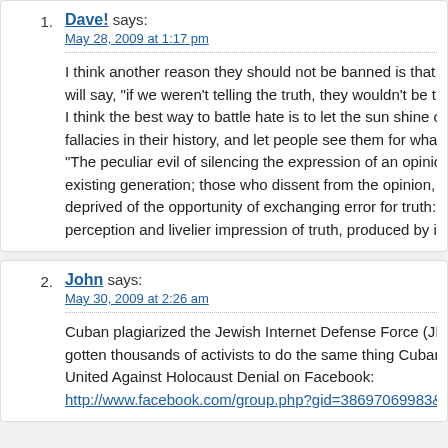Dave! says:
May 28, 2009 at 1:17 pm
I think another reason they should not be banned is that it lends credence will say, "if we weren't telling the truth, they wouldn't be trying so hard to I think the best way to battle hate is to let the sun shine on it. Let them s fallacies in their history, and let people see them for what they are: fear- "The peculiar evil of silencing the expression of an opinion is, that it is ro existing generation; those who dissent from the opinion, still more than t deprived of the opportunity of exchanging error for truth: if wrong, they le perception and livelier impression of truth, produced by its collision with
John says:
May 30, 2009 at 2:26 am
Cuban plagiarized the Jewish Internet Defense Force (JIDF) who have b gotten thousands of activists to do the same thing Cuban did. Join their United Against Holocaust Denial on Facebook:
http://www.facebook.com/group.php?gid=38697069983&ref=ts